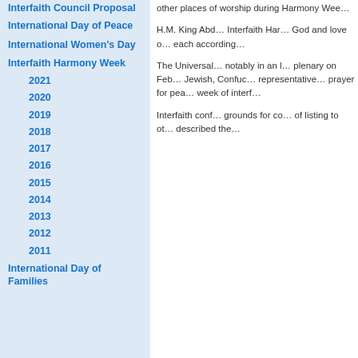Interfaith Council Proposal
International Day of Peace
International Women's Day
Interfaith Harmony Week
2021
2020
2019
2018
2017
2016
2015
2014
2013
2012
2011
International Day of Families
other places of worship during Harmony Wee…
H.M. King Abd… Interfaith Har… God and love o… each according…
The Universal… notably in an l… plenary on Feb… Jewish, Confuc… representative… prayer for pea… week of interf…
Interfaith conf… grounds for co… of listing to ot… described the…